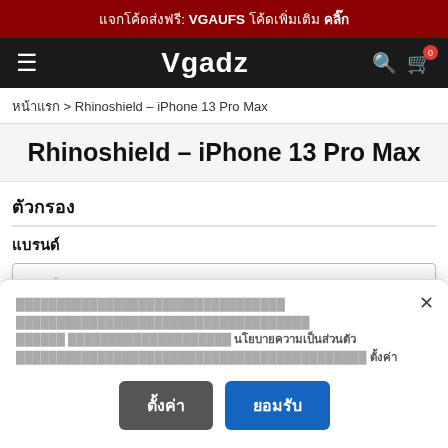แจกโค้ดส่งฟรี: VGAUFS โค้ดเพิ่มเติม คลิ๊ก
Vgadz
หน้าแรก > Rhinoshield – iPhone 13 Pro Max
Rhinoshield – iPhone 13 Pro Max
ตัวกรอง
แบรนด์
ตัวเลือก
เลือก
นโยบายความเป็นส่วนตัว ตั้งค่า ยอมรับ